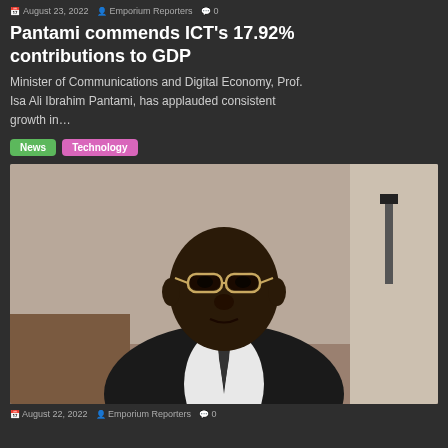August 23, 2022  Emporium Reporters  0
Pantami commends ICT's 17.92% contributions to GDP
Minister of Communications and Digital Economy, Prof. Isa Ali Ibrahim Pantami, has applauded consistent growth in…
News
Technology
[Figure (photo): Portrait photograph of Prof. Isa Ali Ibrahim Pantami, a dark-skinned man wearing glasses, a dark suit, white shirt and dark tie, seated indoors.]
August 22, 2022  Emporium Reporters  0